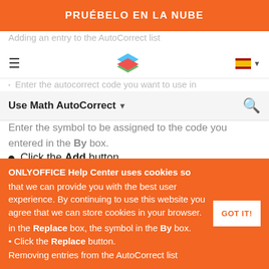PRUÉBELO EN LA NUBE
Adding an entry to the AutoCorrect list
Enter the autocorrect code you want to use in
Use Math AutoCorrect
Enter the symbol to be assigned to the code you entered in the By box.
Click the Add button.
Modifying an entry on the AutoCorrect list
Select the entry to be modified.
You can change the information in both fields: the code in the Replace box, the symbol in the By box.
Click the Replace button.
Removing entries from the AutoCorrect list
ONLYOFFICE Help Center uses cookies so that we can provide you with the best user experience. By continuing to use this website you agree that we can store cookies in your browser.